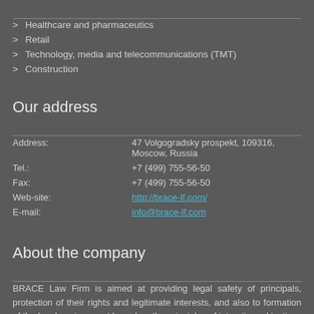> Healthcare and pharmaceutics
> Retail
> Technology, media and telecommunications (TMT)
> Construction
Our address
Address: 47 Volgogradsky prospekt, 109316, Moscow, Russia
Tel.: +7 (499) 755-56-50
Fax: +7 (499) 755-56-50
Web-site: http://brace-lf.com/
E-mail: info@brace-lf.com
About the company
BRACE Law Firm is aimed at providing legal safety of principals, protection of their rights and legitimate interests, and also to formation of the legal environment based on the principles of integrity and justice.